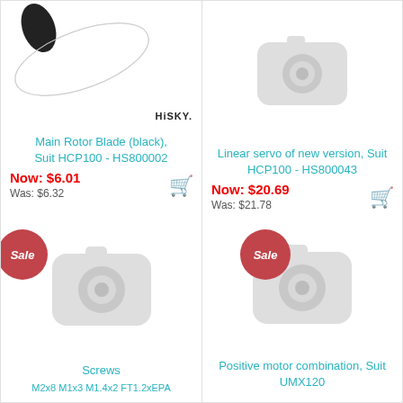[Figure (photo): Product card: Main Rotor Blade (black) with HiSky logo, price Now $6.01, Was $6.32]
Main Rotor Blade (black), Suit HCP100 - HS800002
Now: $6.01
Was: $6.32
[Figure (photo): Product card: Linear servo of new version with placeholder image, price Now $20.69, Was $21.78]
Linear servo of new version, Suit HCP100 - HS800043
Now: $20.69
Was: $21.78
[Figure (photo): Product card with Sale badge: Screws M2x8 M1x3 M1.4x2 FT1.2xEPA placeholder image]
Screws M2x8 M1x3 M1.4x2 FT1.2xEPA
[Figure (photo): Product card with Sale badge: Positive motor combination, Suit UMX120 placeholder image]
Positive motor combination, Suit UMX120